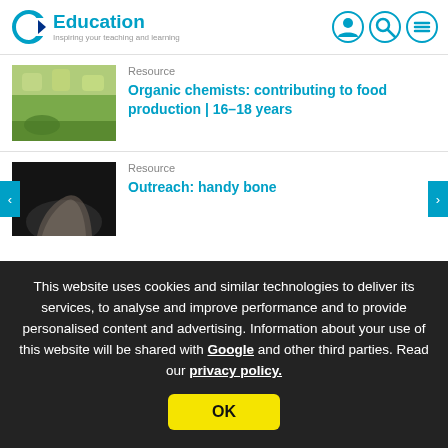[Figure (logo): C Education logo — circular C in teal/blue with text 'Education' and tagline 'Inspiring your teaching and learning']
Resource
Organic chemists: contributing to food production | 16–18 years
Resource
Outreach: handy bone...
This website uses cookies and similar technologies to deliver its services, to analyse and improve performance and to provide personalised content and advertising. Information about your use of this website will be shared with Google and other third parties. Read our privacy policy.